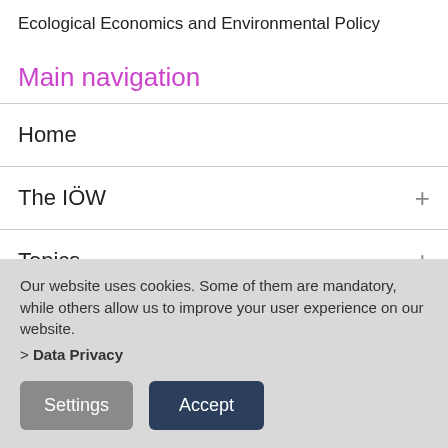Ecological Economics and Environmental Policy
Main navigation
Home
The IÖW
Topics
Projects
Our website uses cookies. Some of them are mandatory, while others allow us to improve your user experience on our website. > Data Privacy
Settings | Accept